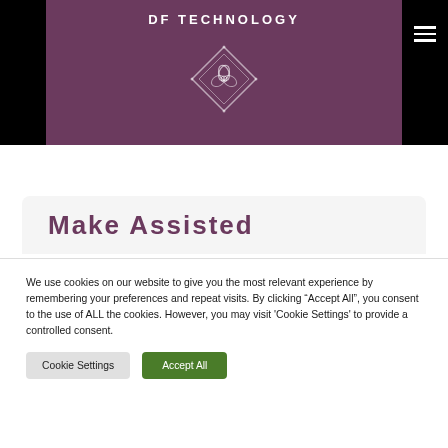DF TECHNOLOGY
[Figure (logo): Diamond-shaped floral logo icon in outline style on purple/mauve background]
Make Assisted
We use cookies on our website to give you the most relevant experience by remembering your preferences and repeat visits. By clicking “Accept All”, you consent to the use of ALL the cookies. However, you may visit 'Cookie Settings' to provide a controlled consent.
Cookie Settings
Accept All